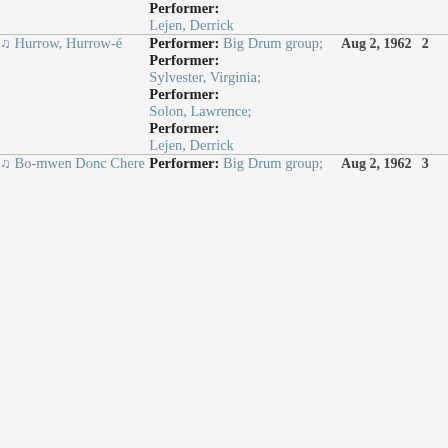| Title | Details | Date | Track |
| --- | --- | --- | --- |
|  | Performer: Lejen, Derrick |  |  |
| ♫ Hurrow, Hurrow-é | Performer: Big Drum group; Performer: Sylvester, Virginia; Performer: Solon, Lawrence; Performer: Lejen, Derrick | Aug 2, 1962 | 2 |
| ♫ Bo-mwen Donc Chere | Performer: Big Drum group; | Aug 2, 1962 | 3 |